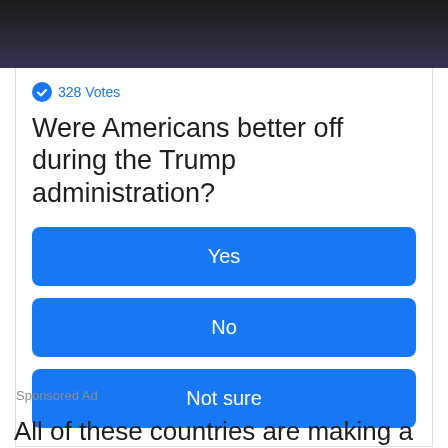[Figure (photo): Dark photo of a person holding a microphone, cropped to show only top portion]
328 Votes
Were Americans better off during the Trump administration?
Yes
No
Not sure
Sponsored Ad
All of these countries are making a significant